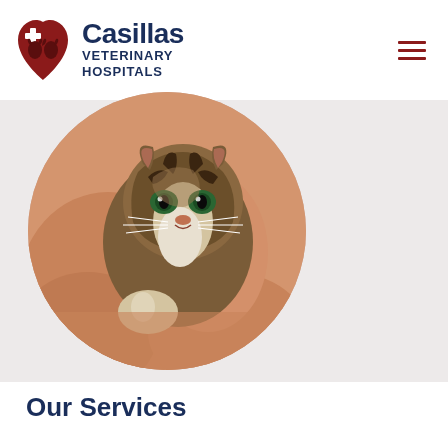Casillas Veterinary Hospitals
[Figure (photo): A fluffy tabby cat with green eyes being held in a person's arms, displayed in a circular cropped photo]
Our Services